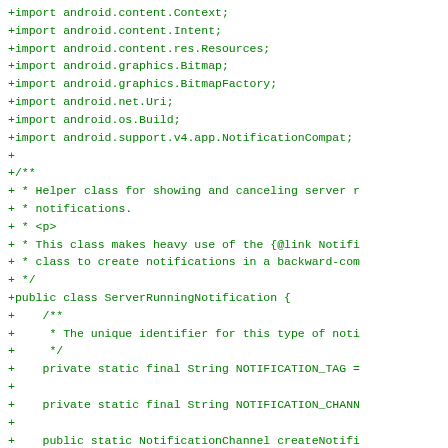[Figure (screenshot): A code diff screenshot showing Java source code additions (lines beginning with '+') for importing Android libraries and defining a ServerRunningNotification class, rendered in green monospace font on white background.]